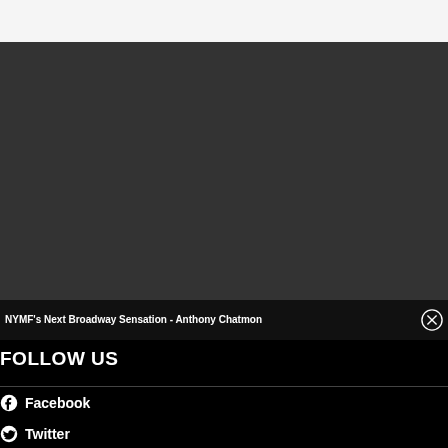[Figure (screenshot): Dark video player area, mostly dark gray background, no visible content playing]
NYMF's Next Broadway Sensation - Anthony Chatmon
FOLLOW US
Facebook
Twitter